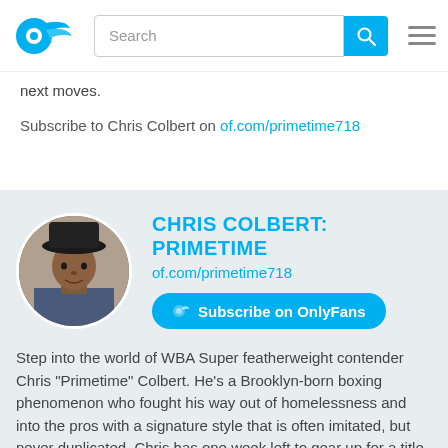[Figure (logo): OnlyFans blue logo mark (stylized OF)]
next moves.
Subscribe to Chris Colbert on of.com/primetime718
[Figure (photo): Circular profile photo of Chris Colbert wearing a black cowboy hat]
CHRIS COLBERT: PRIMETIME
of.com/primetime718
Subscribe on OnlyFans
Step into the world of WBA Super featherweight contender Chris "Primetime" Colbert. He's a Brooklyn-born boxing phenomenon who fought his way out of homelessness and into the pros with a signature style that is often imitated, but never duplicated. Chris has one week left to gear up for a title fight in Vegas against Hector Luis Garcia. With all of Brooklyn cheering him on and a boxing style that's all his own, Chris is